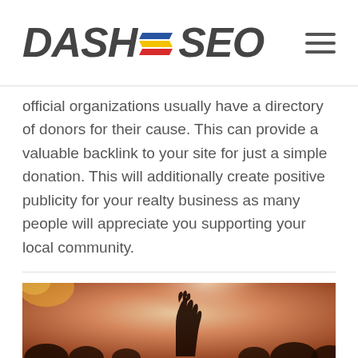DASH SEO
official organizations usually have a directory of donors for their cause. This can provide a valuable backlink to your site for just a simple donation. This will additionally create positive publicity for your realty business as many people will appreciate you supporting your local community.
[Figure (photo): Concert crowd photo with a hand raised in the air, warm orange stage lighting with hazy atmosphere, silhouettes of people visible in background]